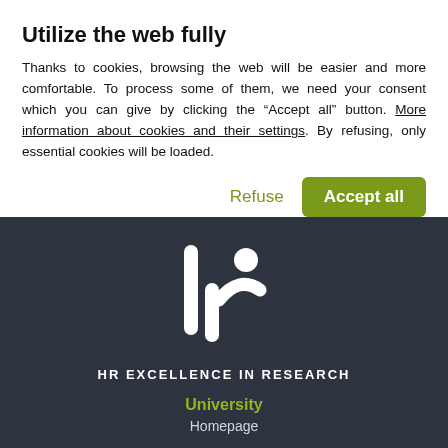Utilize the web fully
Thanks to cookies, browsing the web will be easier and more comfortable. To process some of them, we need your consent which you can give by clicking the “Accept all” button. More information about cookies and their settings. By refusing, only essential cookies will be loaded.
Refuse | Accept all
[Figure (logo): HR Excellence in Research logo - stylized white figure with arms raised on dark background]
HR EXCELLENCE IN RESEARCH
University
Homepage
Departments & Centres
Department of Biology and Ecology
Department of Physical Geography and Geoecology